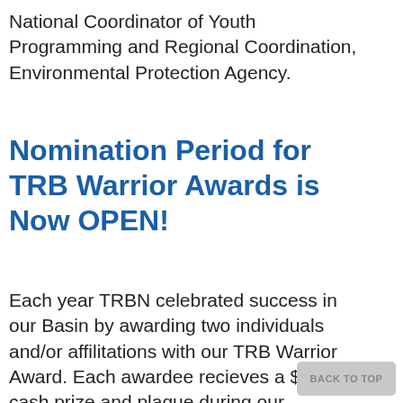National Coordinator of Youth Programming and Regional Coordination, Environmental Protection Agency.
Nomination Period for TRB Warrior Awards is Now OPEN!
Each year TRBN celebrated success in our Basin by awarding two individuals and/or affilitations with our TRB Warrior Award. Each awardee recieves a $5k cash prize and plaque during our Celebration Banquet. Do you know an indiviual or organization that should be nominated for thier efforts to safeguard our Basin's
BACK TO TOP